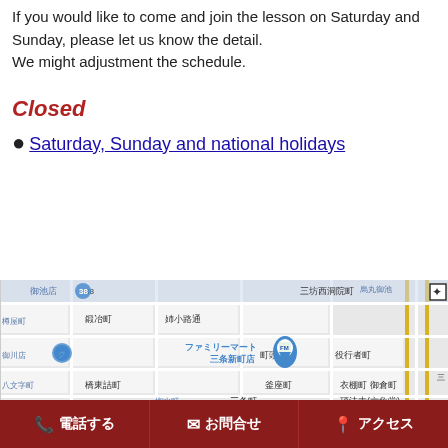If you would like to come and join the lesson on Saturday and Sunday, please let us know the detail. We might adjustment the schedule.
Closed
Saturday, Sunday and national holidays
[Figure (map): Google Maps screenshot showing a street map of Kyoto, Japan near Karasuma Oike area. Shows streets including 三坊西洞院町, 鍛冶町, 姉小路通, 町頭町, 役行者町, 橋東詰町, 釜座町, 衣棚町, 御倉町, 三条町, 柳水町, 八文字町, 頂法寺(六角堂). A FamilyMart (ファミリーマート三条新町店) is marked with a blue pin. A star marker appears near 烏丸御池 in the upper right.]
電話する　お問合せ　アクセス